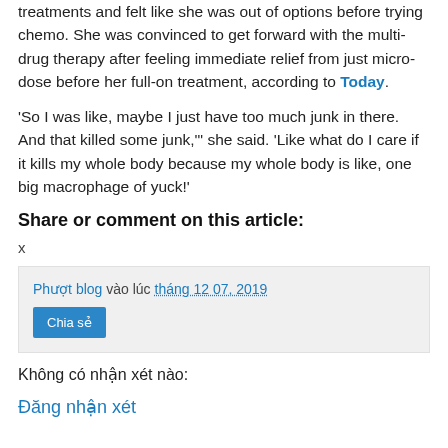treatments and felt like she was out of options before trying chemo. She was convinced to get forward with the multi-drug therapy after feeling immediate relief from just micro-dose before her full-on treatment, according to Today.
'So I was like, maybe I just have too much junk in there. And that killed some junk,'" she said. 'Like what do I care if it kills my whole body because my whole body is like, one big macrophage of yuck!'
Share or comment on this article:
x
Phượt blog vào lúc tháng 12 07, 2019
Chia sẻ
Không có nhận xét nào:
Đăng nhận xét